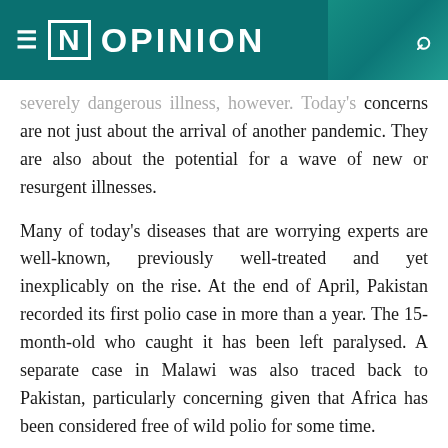[N] OPINION
severely dangerous illness, however. Today's concerns are not just about the arrival of another pandemic. They are also about the potential for a wave of new or resurgent illnesses.
Many of today's diseases that are worrying experts are well-known, previously well-treated and yet inexplicably on the rise. At the end of April, Pakistan recorded its first polio case in more than a year. The 15-month-old who caught it has been left paralysed. A separate case in Malawi was also traced back to Pakistan, particularly concerning given that Africa has been considered free of wild polio for some time.